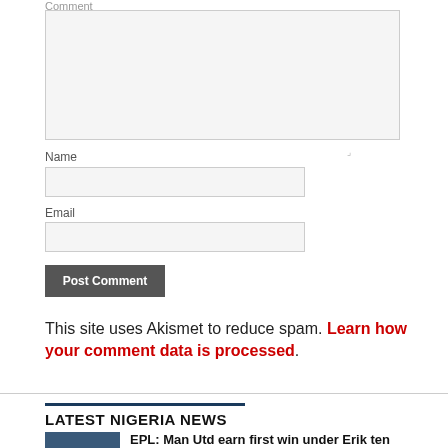Comment
[Figure (screenshot): Comment textarea input field (large, light grey background)]
Name
[Figure (screenshot): Name text input field]
Email
[Figure (screenshot): Email text input field]
Post Comment
This site uses Akismet to reduce spam. Learn how your comment data is processed.
LATEST NIGERIA NEWS
EPL: Man Utd earn first win under Erik ten